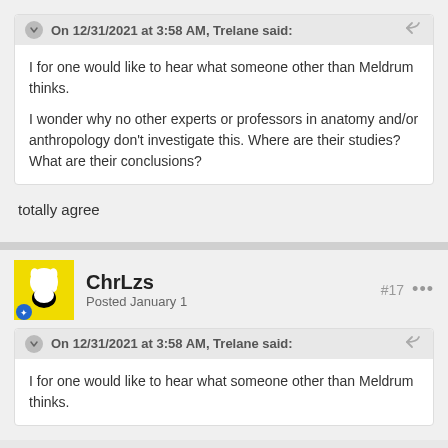On 12/31/2021 at 3:58 AM, Trelane said:
I for one would like to hear what someone other than Meldrum thinks.

I wonder why no other experts or professors in anatomy and/or anthropology don't investigate this. Where are their studies? What are their conclusions?
totally agree
ChrLzs
Posted January 1
#17
On 12/31/2021 at 3:58 AM, Trelane said:
I for one would like to hear what someone other than Meldrum thinks.